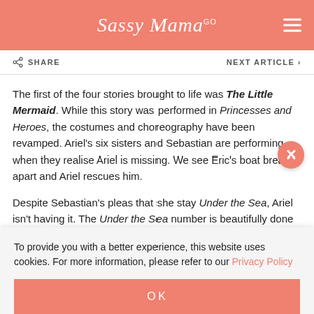Sassy Mama GO
SHARE
NEXT ARTICLE ›
The first of the four stories brought to life was The Little Mermaid. While this story was performed in Princesses and Heroes, the costumes and choreography have been revamped. Ariel's six sisters and Sebastian are performing when they realise Ariel is missing. We see Eric's boat break apart and Ariel rescues him.

Despite Sebastian's pleas that she stay Under the Sea, Ariel isn't having it. The Under the Sea number is beautifully done with…
To provide you with a better experience, this website uses cookies. For more information, please refer to our Privacy Policy
OK